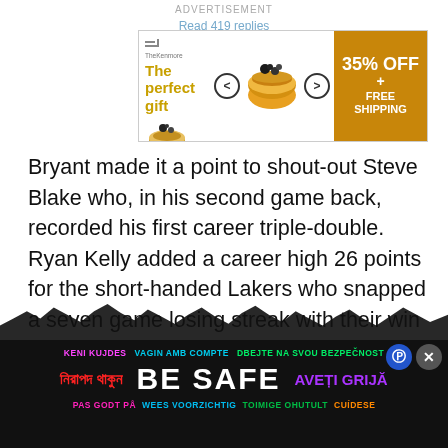ADVERTISEMENT
Read 419 replies
[Figure (other): Advertisement banner for 'The perfect gift' showing a food bowl, navigation arrows, and '35% OFF + FREE SHIPPING' offer badge]
Bryant made it a point to shout-out Steve Blake who, in his second game back, recorded his first career triple-double. Ryan Kelly added a career high 26 points for the short-handed Lakers who snapped a seven game losing streak with their win in Cleveland.
It is great to see that the team has the support of its veteran players. At a time when the team is losing, and the locker room morale is struggling to stay positive, it is sure to motivate the guys when they s... porting everything they go through.
[Figure (other): Be Safe multilingual safety banner at the bottom of the page with crowd silhouette]